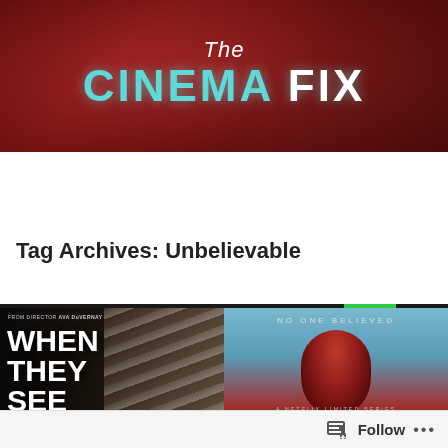[Figure (photo): The Cinema Fix website banner with red background featuring scattered movie characters and the site title 'The Cinema Fix' in large teal and white letters]
The Cinema Fix presents:
Tag Archives: Unbelievable
[Figure (photo): Movie poster for 'When They See Us' directed by Ava DuVernay, showing large white bold text on dark background with American flag stripes]
[Figure (photo): Netflix limited series poster for 'Unbelievable' with tagline 'No One Believed' showing a figure with red hair against blue background]
Follow